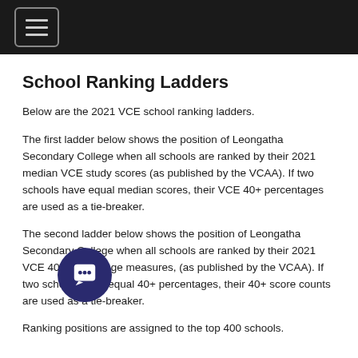[Navigation bar with hamburger menu]
School Ranking Ladders
Below are the 2021 VCE school ranking ladders.
The first ladder below shows the position of Leongatha Secondary College when all schools are ranked by their 2021 median VCE study scores (as published by the VCAA). If two schools have equal median scores, their VCE 40+ percentages are used as a tie-breaker.
The second ladder below shows the position of Leongatha Secondary College when all schools are ranked by their 2021 VCE 40+ percentage measures, (as published by the VCAA). If two schools have equal 40+ percentages, their 40+ score counts are used as a tie-breaker.
Ranking positions are assigned to the top 400 schools.